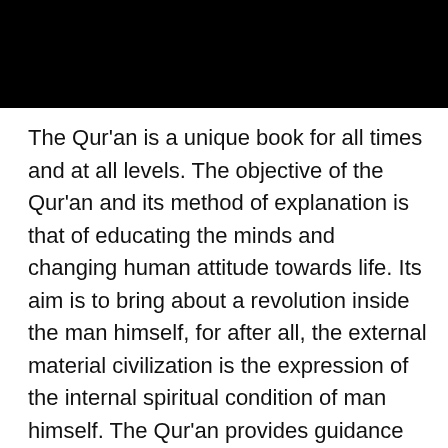[Figure (other): Black rectangular banner/header image at the top of the page]
The Qur’an is a unique book for all times and at all levels. The objective of the Qur’an and its method of explanation is that of educating the minds and changing human attitude towards life. Its aim is to bring about a revolution inside the man himself, for after all, the external material civilization is the expression of the internal spiritual condition of man himself. The Qur’an provides guidance on every issue facing the mankind so that they can rectify themselves and their society. This 4 week course will go through some pertinent verses from the Qur’an dealing with some of mankind’s social